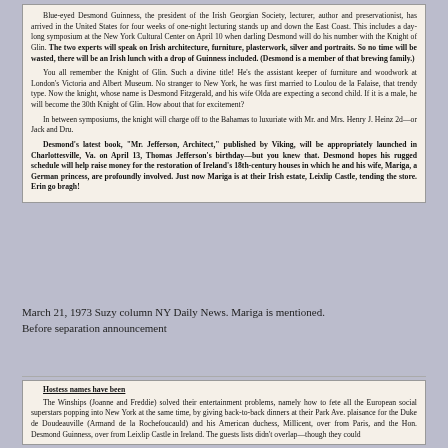[Figure (photo): Newspaper clipping from NY Daily News, Suzy column, March 21 1973. Text about Desmond Guinness, the Irish Georgian Society, Knight of Glin, and related social events.]
March 21, 1973 Suzy column NY Daily News. Mariga is mentioned.
Before separation announcement
[Figure (photo): Second newspaper clipping about the Winships (Joanne and Freddie) solving entertainment problems by giving back-to-back dinners for European social superstars including Duke de Doudeauville and Desmond Guinness.]